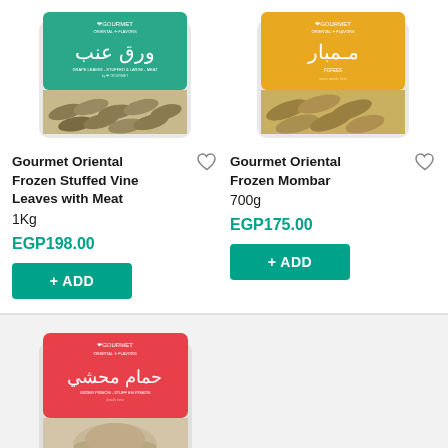[Figure (photo): Gourmet Oriental Frozen Stuffed Vine Leaves with Meat product package - green label with Arabic text, containing rolled vine leaves]
[Figure (photo): Gourmet Oriental Frozen Mombar product package - yellow/orange label with Arabic text, containing stuffed sausage pieces]
Gourmet Oriental Frozen Stuffed Vine Leaves with Meat
1Kg
EGP198.00
+ ADD
Gourmet Oriental Frozen Mombar
700g
EGP175.00
+ ADD
[Figure (photo): Gourmet Oriental Frozen Stuffed Pigeon product package - red/pink label with Arabic text, containing stuffed pigeon]